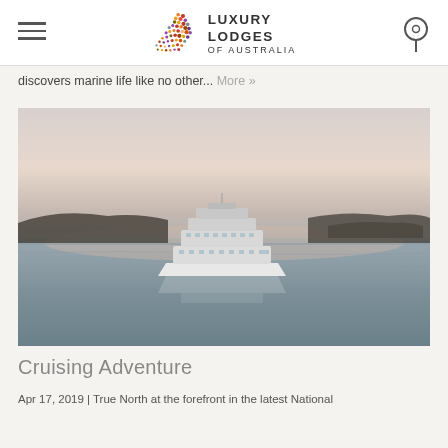Luxury Lodges of Australia
discovers marine life like no other... More »
[Figure (photo): Aerial view of a large luxury expedition ship anchored on calm, glassy water at dusk/dawn, with low rocky islands visible in the background and a warm pink-purple sky above.]
Cruising Adventure
Apr 17, 2019 | True North at the forefront in the latest National